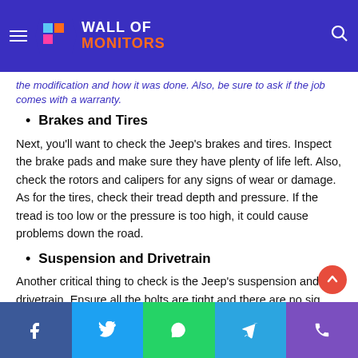Wall of Monitors — navigation bar
the modification and how it was done. Also, be sure to ask if the job comes with a warranty.
Brakes and Tires
Next, you'll want to check the Jeep's brakes and tires. Inspect the brake pads and make sure they have plenty of life left. Also, check the rotors and calipers for any signs of wear or damage. As for the tires, check their tread depth and pressure. If the tread is too low or the pressure is too high, it could cause problems down the road.
Suspension and Drivetrain
Another critical thing to check is the Jeep's suspension and drivetrain. Ensure all the bolts are tight and there are no sig…
Share buttons: Facebook, Twitter, WhatsApp, Telegram, Phone